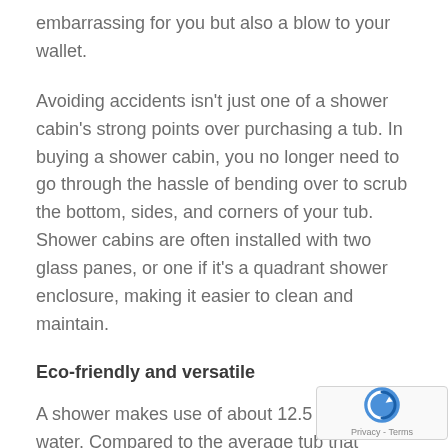embarrassing for you but also a blow to your wallet.
Avoiding accidents isn't just one of a shower cabin's strong points over purchasing a tub. In buying a shower cabin, you no longer need to go through the hassle of bending over to scrub the bottom, sides, and corners of your tub. Shower cabins are often installed with two glass panes, or one if it's a quadrant shower enclosure, making it easier to clean and maintain.
Eco-friendly and versatile
A shower makes use of about 12.5 gallons of water. Compared to the average tub that makes use of 25 gallons to a whopping 45 gallons in just filling it up. Choosing a shower will save on your water bills and will allow you to do your part in making your home a greener space. Alternative models of shower cabins also function as a steam shower. Having it installed and